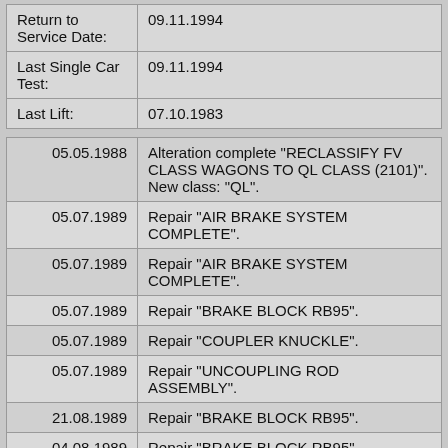| Field | Value |
| --- | --- |
| Return to Service Date: | 09.11.1994 |
| Last Single Car Test: | 09.11.1994 |
| Last Lift: | 07.10.1983 |
| Date | Description |
| --- | --- |
| 05.05.1988 | Alteration complete "RECLASSIFY FV CLASS WAGONS TO QL CLASS (2101)". New class: "QL". |
| 05.07.1989 | Repair "AIR BRAKE SYSTEM COMPLETE". |
| 05.07.1989 | Repair "AIR BRAKE SYSTEM COMPLETE". |
| 05.07.1989 | Repair "BRAKE BLOCK RB95". |
| 05.07.1989 | Repair "COUPLER KNUCKLE". |
| 05.07.1989 | Repair "UNCOUPLING ROD ASSEMBLY". |
| 21.08.1989 | Repair "BRAKE BLOCK RB95". |
| 04.09.1989 | Repair "BRAKE BLOCK RB95". |